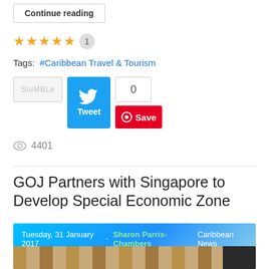Continue reading
★★★★★  1
Tags:  #Caribbean Travel & Tourism
[Figure (screenshot): Social sharing buttons: StumbleUpon, Tweet button, tweet count (0), Pinterest Save button]
👁 4401
GOJ Partners with Singapore to Develop Special Economic Zone
Tuesday, 31 January 2017  ·  Sharon Parris-Chambers Caribbean News
[Figure (photo): Partial photo of woven/rattan furniture or decor in beige and brown tones]